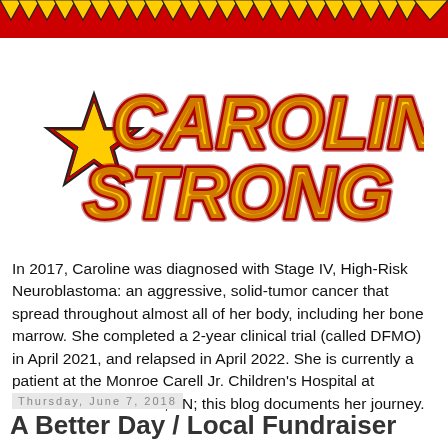[Figure (logo): Caroline Strong logo with red and yellow block letters, red star on left side, on white background with red spiky banner at top]
In 2017, Caroline was diagnosed with Stage IV, High-Risk Neuroblastoma: an aggressive, solid-tumor cancer that spread throughout almost all of her body, including her bone marrow. She completed a 2-year clinical trial (called DFMO) in April 2021, and relapsed in April 2022. She is currently a patient at the Monroe Carell Jr. Children's Hospital at Vanderbilt in Nashville, TN; this blog documents her journey.
Thursday, June 7, 2018
A Better Day / Local Fundraiser